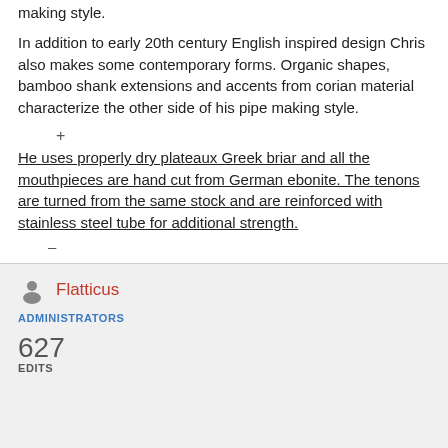making style.
In addition to early 20th century English inspired design Chris also makes some contemporary forms. Organic shapes, bamboo shank extensions and accents from corian material characterize the other side of his pipe making style.
+
He uses properly dry plateaux Greek briar and all the mouthpieces are hand cut from German ebonite. The tenons are turned from the same stock and are reinforced with stainless steel tube for additional strength.
–
Flatticus
ADMINISTRATORS
627 EDITS